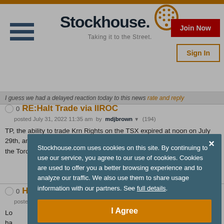Stockhouse — Taking it to the Street. [Join Now] [Sign In]
I guess we had a delayed reaction today to this news  rate and reply
RE:Halt Trade via IIROC
posted July 31, 2022 11:35 am  by  mdjbrown ▼ (194)
TP, the ability to trade Krn Rights on the TSX expired at noon on July 29th, and are being delisted. "It is expected that the Rights will trade on the Toronto Stock Exchange under the symbol...read more
Halt Trade via IIROC
posted July 31, 2022 10:22 am  by  TruthPlease ▼ (0)
Stockhouse.com uses cookies on this site. By continuing to use our service, you agree to our use of cookies. Cookies are used to offer you a better browsing experience and to analyze our traffic. We also use them to share usage information with our partners. See full details.
I Agree